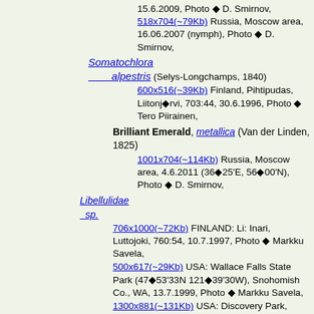15.6.2009, Photo © D. Smirnov,
518x704(~79Kb) Russia, Moscow area, 16.06.2007 (nymph), Photo © D. Smirnov,
Somatochlora alpestris (Selys-Longchamps, 1840)
600x516(~39Kb) Finland, Pihtipudas, Liitonjörvi, 703:44, 30.6.1996, Photo © Tero Piirainen,
Brilliant Emerald, metallica (Van der Linden, 1825)
1001x704(~114Kb) Russia, Moscow area, 4.6.2011 (36°25'E, 56°00'N), Photo © D. Smirnov,
Libellulidae sp.
706x1000(~72Kb) FINLAND: Li: Inari, Luttojoki, 760:54, 10.7.1997, Photo © Markku Savela,
500x617(~29Kb) USA: Wallace Falls State Park (47°53'33N 121°39'30W), Snohomish Co., WA, 13.7.1999, Photo © Markku Savela,
1300x881(~131Kb) USA: Discovery Park, Seattle, King Co., WA, 22.6.2000, Photo © Markku Savela,
1000x700(~79Kb) USA: Discovery Park, Seattle, King Co., WA, 22.6.2000, Photo © Markku Savela,